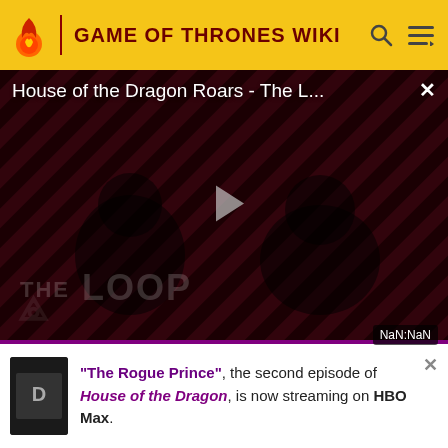GAME OF THRONES WIKI
[Figure (screenshot): Video player showing 'House of the Dragon Roars - The L...' with a play button, diagonal red-black striped background, two figures in the foreground, THE LOOP watermark, and NaN:NaN timer. Close button X in top right.]
and vaguely implies that "The Dance of Dragons" was the name of the war. In the novels, the name of the
"The Rogue Prince", the second episode of House of the Dragon, is now streaming on HBO Max.